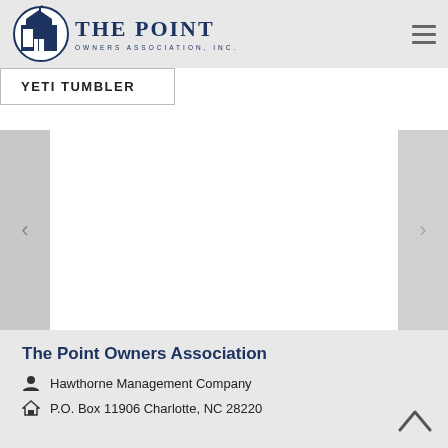[Figure (logo): The Point Owners Association, Inc. logo with a building/cupola icon in a circle and navy text]
THE POINT OWNERS ASSOCIATION, INC.
YETI TUMBLER
[Figure (screenshot): Carousel image area with left and right navigation arrows on gray panels, white center area]
The Point Owners Association
Hawthorne Management Company
P.O. Box 11906 Charlotte, NC 28220